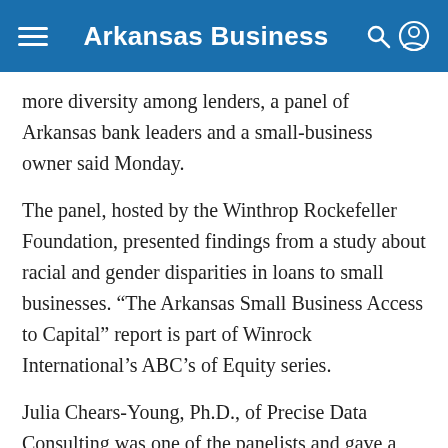Arkansas Business
more diversity among lenders, a panel of Arkansas bank leaders and a small-business owner said Monday.
The panel, hosted by the Winthrop Rockefeller Foundation, presented findings from a study about racial and gender disparities in loans to small businesses. “The Arkansas Small Business Access to Capital” report is part of Winrock International’s ABC’s of Equity series.
Julia Chears-Young, Ph.D., of Precise Data Consulting was one of the panelists and gave a presentation on the report's findings.